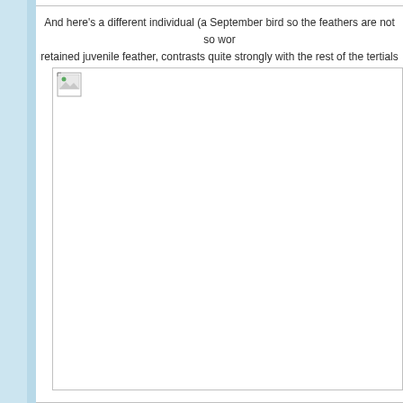And here's a different individual (a September bird so the feathers are not so wor retained juvenile feather, contrasts quite strongly with the rest of the tertials
[Figure (photo): A photo placeholder showing a broken image icon, representing a bird photograph that failed to load. The image area is large, taking up most of the page below the text.]